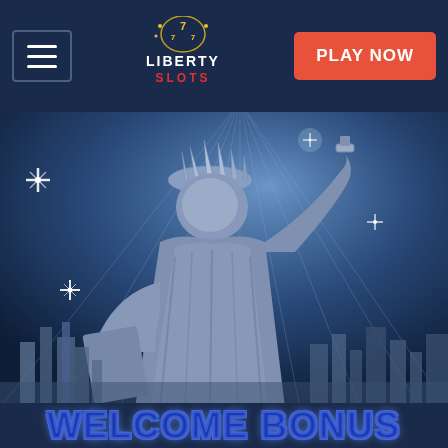[Figure (logo): Liberty Slots casino logo with '77' slot machine icon and stylized text]
[Figure (screenshot): Mobile website screenshot of Liberty Slots casino showing hamburger menu button, logo, Play Now button in navigation, and a large hero image of the Statue of Liberty in blue-gray tones with city skyline in background with sparkle/star effects]
WELCOME BONUS